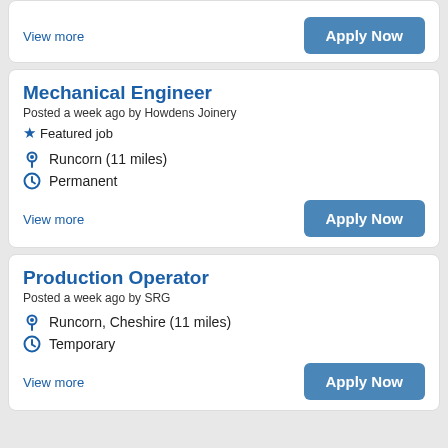View more
Apply Now
Mechanical Engineer
Posted a week ago by Howdens Joinery
Featured job
Runcorn (11 miles)
Permanent
View more
Apply Now
Production Operator
Posted a week ago by SRG
Runcorn, Cheshire (11 miles)
Temporary
View more
Apply Now